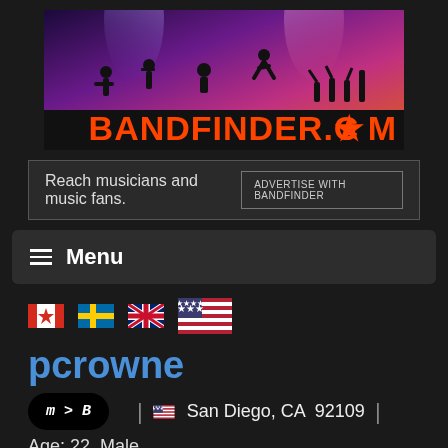[Figure (logo): BandFinder.com banner with concert silhouettes and orange logo text on dark background]
Reach musicians and music fans.
ADVERTISE WITH BANDFINDER
Menu
[Figure (infographic): Flag icons: Canadian, Swedish, British, American flags]
pcrowne
m > B  |  San Diego, CA  92109  |
Age: 22  Male